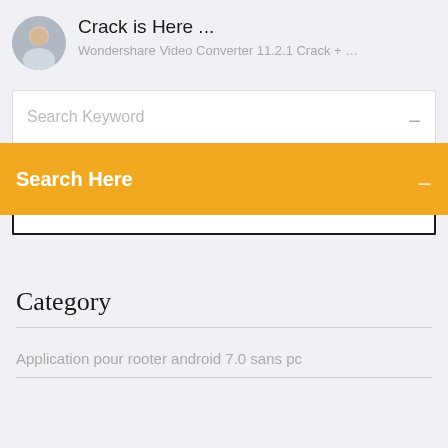[Figure (photo): Circular avatar photo of a man]
Crack is Here ...
Wondershare Video Converter 11.2.1 Crack + …
Search Keyword
Search Here
Category
Application pour rooter android 7.0 sans pc